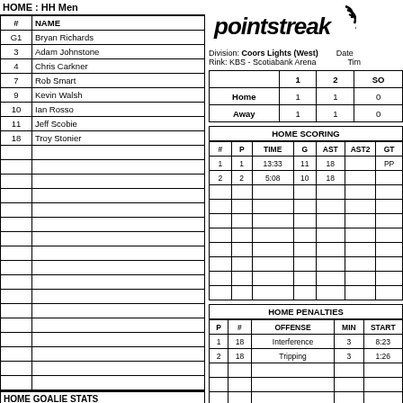HOME : HH Men
| # | NAME |
| --- | --- |
| G1 | Bryan Richards |
| 3 | Adam Johnstone |
| 4 | Chris Carkner |
| 7 | Rob Smart |
| 9 | Kevin Walsh |
| 10 | Ian Rosso |
| 11 | Jeff Scobie |
| 18 | Troy Stonier |
|  |  |
|  |  |
|  |  |
|  |  |
|  |  |
|  |  |
|  |  |
|  |  |
|  |  |
|  |  |
|  |  |
|  |  |
|  |  |
|  |  |
|  |  |
|  |  |
|  |  |
[Figure (logo): Pointstreak logo]
Division: Coors Lights (West) Rink: KBS - Scotiabank Arena
|  | 1 | 2 | SO |
| --- | --- | --- | --- |
| Home | 1 | 1 | 0 |
| Away | 1 | 1 | 0 |
HOME SCORING
| # | P | TIME | G | AST | AST2 | GT |
| --- | --- | --- | --- | --- | --- | --- |
| 1 | 1 | 13:33 | 11 | 18 |  | PP |
| 2 | 2 | 5:08 | 10 | 18 |  |  |
|  |  |  |  |  |  |  |
|  |  |  |  |  |  |  |
|  |  |  |  |  |  |  |
|  |  |  |  |  |  |  |
|  |  |  |  |  |  |  |
|  |  |  |  |  |  |  |
|  |  |  |  |  |  |  |
|  |  |  |  |  |  |  |
|  |  |  |  |  |  |  |
HOME PENALTIES
| P | # | OFFENSE | MIN | START |
| --- | --- | --- | --- | --- |
| 1 | 18 | Interference | 3 | 8:23 |
| 2 | 18 | Tripping | 3 | 1:26 |
|  |  |  |  |  |
|  |  |  |  |  |
|  |  |  |  |  |
|  |  |  |  |  |
|  |  |  |  |  |
|  |  |  |  |  |
|  |  |  |  |  |
HOME GOALIE STATS
| NAME | MIN | SHOTS | SAVES |
| --- | --- | --- | --- |
| 1 B. Richards | 44 | not recorded |  |
COACH SIGNOFF
H. COACH -